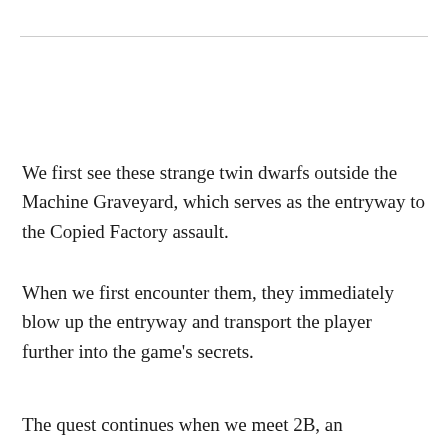We first see these strange twin dwarfs outside the Machine Graveyard, which serves as the entryway to the Copied Factory assault.
When we first encounter them, they immediately blow up the entryway and transport the player further into the game's secrets.
The quest continues when we meet 2B, an